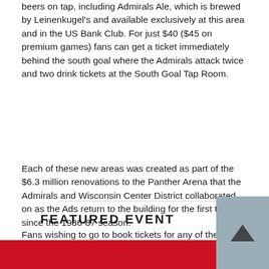beers on tap, including Admirals Ale, which is brewed by Leinenkugel's and available exclusively at this area and in the US Bank Club. For just $40 ($45 on premium games) fans can get a ticket immediately behind the south goal where the Admirals attack twice and two drink tickets at the South Goal Tap Room.
Each of these new areas was created as part of the $6.3 million renovations to the Panther Arena that the Admirals and Wisconsin Center District collaborated on as the Ads return to the building for the first time since the 1986-87 season.
Fans wishing to go to book tickets for any of these premium areas can call the Admirals office at (414) 227-0550 or email premiumseats@milwaukeeadmirals.com
FEATURED EVENT